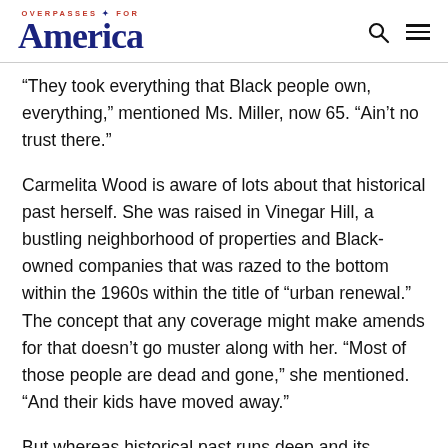OVERPASSES FOR America
“They took everything that Black people own, everything,” mentioned Ms. Miller, now 65. “Ain’t no trust there.”
Carmelita Wood is aware of lots about that historical past herself. She was raised in Vinegar Hill, a bustling neighborhood of properties and Black-owned companies that was razed to the bottom within the 1960s within the title of “urban renewal.” The concept that any coverage might make amends for that doesn’t go muster along with her. “Most of those people are dead and gone,” she mentioned. “And their kids have moved away.”
But whereas historical past runs deep and its tragedies are irreversible, Ms. Wood prompt that it was not too late to